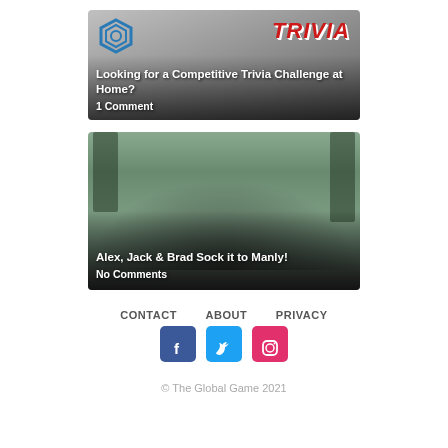[Figure (screenshot): Trivia blog card with grey/gradient background showing TRIVIA title graphic with animals and logo. Text overlay reads 'Looking for a Competitive Trivia Challenge at Home?' and '1 Comment']
[Figure (photo): Group photo of teenagers/young adults posing outdoors at Manly beach area with a sculpture. Text overlay reads 'Alex, Jack & Brad Sock it to Manly!' and 'No Comments']
CONTACT   ABOUT   PRIVACY
© The Global Game 2021